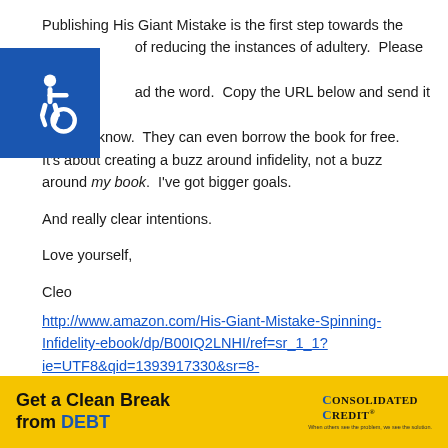[Figure (other): Blue square accessibility icon (wheelchair symbol) overlapping text on the left side]
Publishing His Giant Mistake is the first step towards the goal of reducing the instances of adultery. Please help me spread the word. Copy the URL below and send it to every one you know. They can even borrow the book for free. It's about creating a buzz around infidelity, not a buzz around my book. I've got bigger goals.

And really clear intentions.

Love yourself,

Cleo
http://www.amazon.com/His-Giant-Mistake-Spinning-Infidelity-ebook/dp/B00IQ2LNHI/ref=sr_1_1?ie=UTF8&qid=1393917330&sr=8-
[Figure (infographic): Yellow advertisement banner reading 'Get a Clean Break from DEBT' with Consolidated Credit logo on the right]